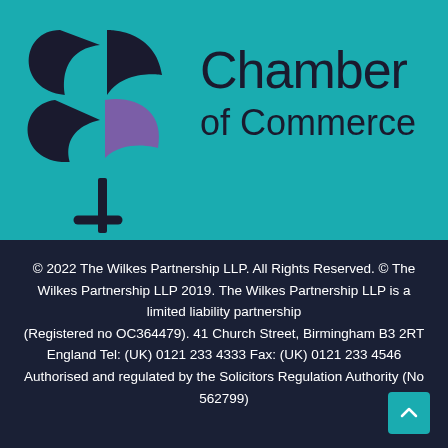[Figure (logo): Chamber of Commerce logo with teal background, black stylized B/flower icon with purple leaf accent, and text 'Chamber of Commerce' in dark color]
© 2022 The Wilkes Partnership LLP. All Rights Reserved. © The Wilkes Partnership LLP 2019. The Wilkes Partnership LLP is a limited liability partnership (Registered no OC364479). 41 Church Street, Birmingham B3 2RT England Tel: (UK) 0121 233 4333 Fax: (UK) 0121 233 4546 Authorised and regulated by the Solicitors Regulation Authority (No 562799)